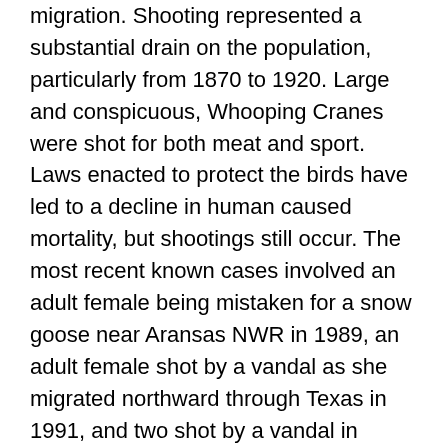migration. Shooting represented a substantial drain on the population, particularly from 1870 to 1920. Large and conspicuous, Whooping Cranes were shot for both meat and sport. Laws enacted to protect the birds have led to a decline in human caused mortality, but shootings still occur. The most recent known cases involved an adult female being mistaken for a snow goose near Aransas NWR in 1989, an adult female shot by a vandal as she migrated northward through Texas in 1991, and two shot by a vandal in Florida in 1990…." (Page 5, Whooping Crane publication, 2 June 1970)
http://www.tpwd.state.tx.us/publications/pwdpubs/media/pwd_bk_w7000_0013_whooping_crane.pdf
"…Since 2007, there have been 11 confirmed shootings of whooping cranes in the United States, three of those have occurred in Indiana. In addition to the Knox County